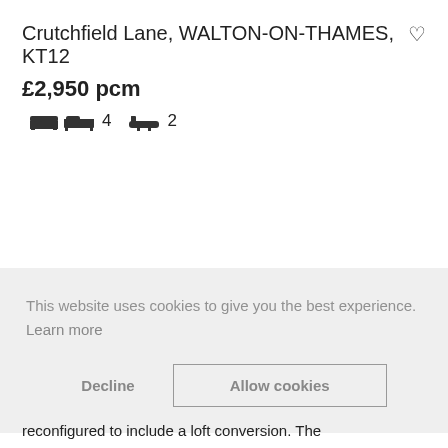Crutchfield Lane, WALTON-ON-THAMES, KT12
£2,950 pcm
4 bedrooms  2 bathrooms
This website uses cookies to give you the best experience. Learn more
Decline   Allow cookies
reconfigured to include a loft conversion. The